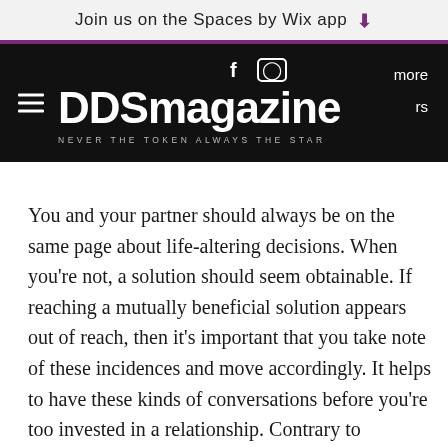Join us on the Spaces by Wix app
[Figure (logo): DDSmagazine logo — black bar with white text reading 'DDSmagazine', tagline 'NEVER THE TOKEN ALWAYS THE STAR', hamburger menu icon, Facebook and Instagram social icons]
You and your partner should always be on the same page about life-altering decisions. When you're not, a solution should seem obtainable. If reaching a mutually beneficial solution appears out of reach, then it's important that you take note of these incidences and move accordingly. It helps to have these kinds of conversations before you're too invested in a relationship. Contrary to